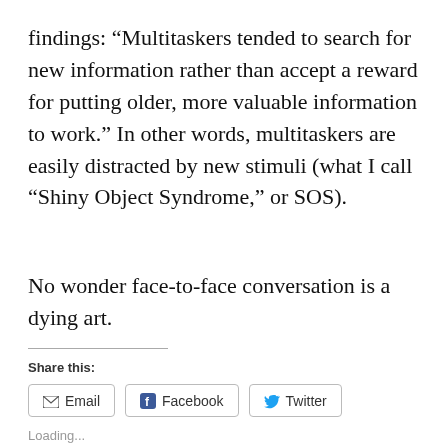findings: “Multitaskers tended to search for new information rather than accept a reward for putting older, more valuable information to work.” In other words, multitaskers are easily distracted by new stimuli (what I call “Shiny Object Syndrome,” or SOS).
No wonder face-to-face conversation is a dying art.
Share this:
Email   Facebook   Twitter
Loading...